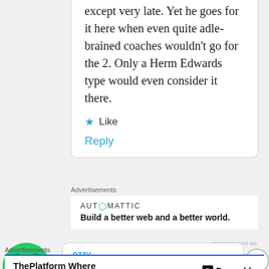except very late. Yet he goes for it here when even quite adle-brained coaches wouldn't go for the 2. Only a Herm Edwards type would even consider it there.
Like
Reply
Advertisements
[Figure (logo): Automattic logo text and tagline: Build a better web and a better world.]
REPORT THIS AD
[Figure (photo): Green geometric avatar icon for user ozzy]
ozzy
November 4, 2008 at 3:51 pm
Advertisements
[Figure (infographic): Pressable advertisement: ThePlatform Where WordPress Works Best]